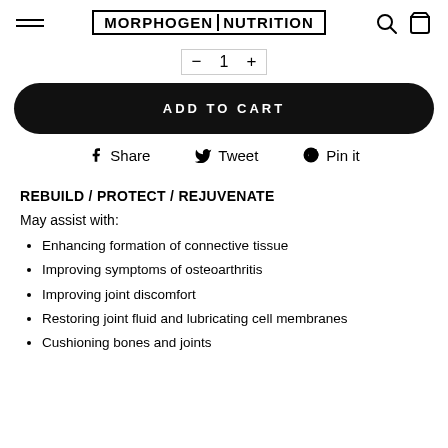MORPHOGEN NUTRITION
− 1 +
ADD TO CART
Share  Tweet  Pin it
REBUILD / PROTECT / REJUVENATE
May assist with:
Enhancing formation of connective tissue
Improving symptoms of osteoarthritis
Improving joint discomfort
Restoring joint fluid and lubricating cell membranes
Cushioning bones and joints